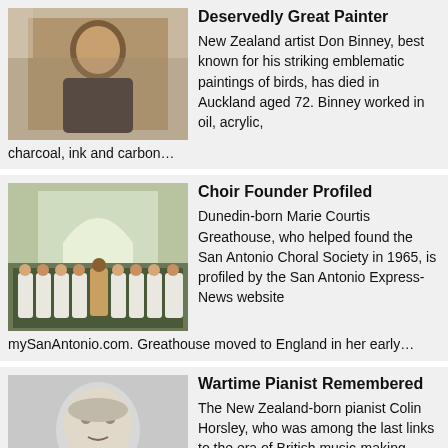[Figure (photo): Photo of Don Binney, a middle-aged man in dark clothing]
Deservedly Great Painter
New Zealand artist Don Binney, best known for his striking emblematic paintings of birds, has died in Auckland aged 72. Binney worked in oil, acrylic, charcoal, ink and carbon…
[Figure (photo): Photo of a choir in white robes with a conductor]
Choir Founder Profiled
Dunedin-born Marie Courtis Greathouse, who helped found the San Antonio Choral Society in 1965, is profiled by the San Antonio Express-News website mySanAntonio.com. Greathouse moved to England in her early…
[Figure (photo): Black and white portrait photo of Colin Horsley as a young man]
Wartime Pianist Remembered
The New Zealand-born pianist Colin Horsley, who was among the last links to the era of British music-making dominated by Sir Henry Wood, has died on the Isle of…
[Figure (photo): Photo of Margaret Mahy, an older woman seated outdoors near water]
Magically Marvellous Mahy
“Margaret Mahy, an award-winning children’s author who tested the limits of her readers’ whimsy and courage with fantastical tales of witches, hauntings…